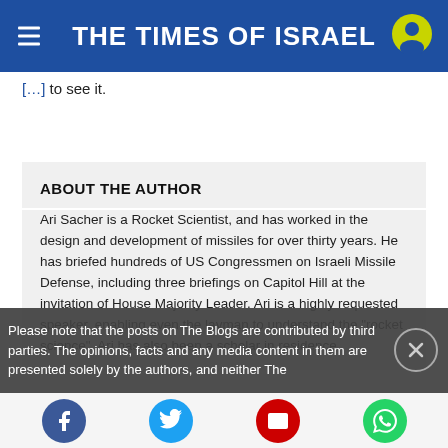THE TIMES OF ISRAEL
to see it.
ABOUT THE AUTHOR
Ari Sacher is a Rocket Scientist, and has worked in the design and development of missiles for over thirty years. He has briefed hundreds of US Congressmen on Israeli Missile Defense, including three briefings on Capitol Hill at the invitation of House Majority Leader. Ari is a highly requested speaker, enabling even the layman to understand the "rocket science". Ari has also been a scholar in residence
Please note that the posts on The Blogs are contributed by third parties. The opinions, facts and any media content in them are presented solely by the authors, and neither The